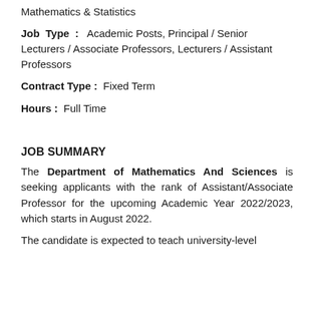Mathematics & Statistics
Job Type :  Academic Posts, Principal / Senior Lecturers / Associate Professors, Lecturers / Assistant Professors
Contract Type :  Fixed Term
Hours :  Full Time
JOB SUMMARY
The Department of Mathematics And Sciences is seeking applicants with the rank of Assistant/Associate Professor for the upcoming Academic Year 2022/2023, which starts in August 2022.
The candidate is expected to teach university-level